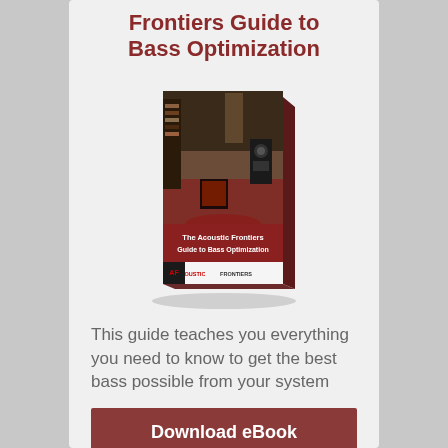Frontiers Guide to Bass Optimization
[Figure (illustration): Book cover of 'The Acoustic Frontiers Guide to Bass Optimization' showing a listening room with audio equipment, speakers, and red carpet. The book is shown in 3D perspective with a dark red banner and Acoustic Frontiers logo at the bottom.]
This guide teaches you everything you need to know to get the best bass possible from your system
Download eBook